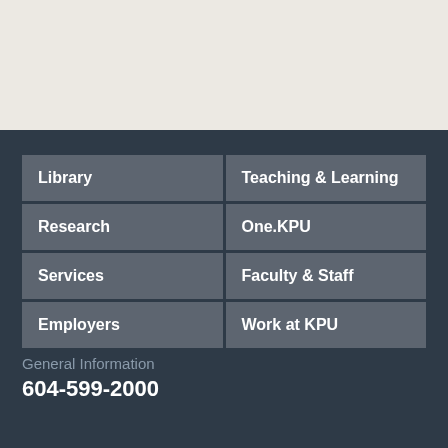[Figure (other): Top light beige/gray banner area]
Library
Teaching & Learning
Research
One.KPU
Services
Faculty & Staff
Employers
Work at KPU
General Information
604-599-2000